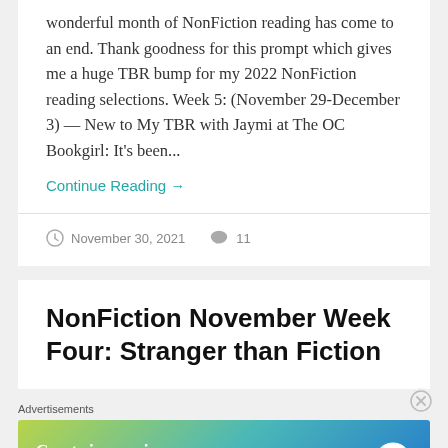wonderful month of NonFiction reading has come to an end. Thank goodness for this prompt which gives me a huge TBR bump for my 2022 NonFiction reading selections. Week 5: (November 29-December 3) — New to My TBR with Jaymi at The OC Bookgirl: It's been...
Continue Reading →
November 30, 2021   11
NonFiction November Week Four: Stranger than Fiction
Advertisements
[Figure (screenshot): WordPress advertisement banner: 'Create immersive stories.' with 'GET THE APP' button and WordPress logo]